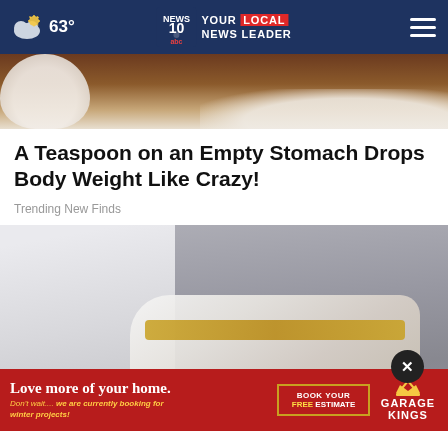63° NEWS 10 abc YOUR LOCAL NEWS LEADER
[Figure (photo): Close-up of a bowl with white flour/powder on a wooden surface]
A Teaspoon on an Empty Stomach Drops Body Weight Like Crazy!
Trending New Finds
[Figure (photo): Close-up of a person wearing white jeans and white slip-on sneakers with gold/brown accents, standing on pavement]
Love more of your home. Don't wait.... we are currently booking for winter projects! BOOK YOUR FREE ESTIMATE GARAGE KINGS